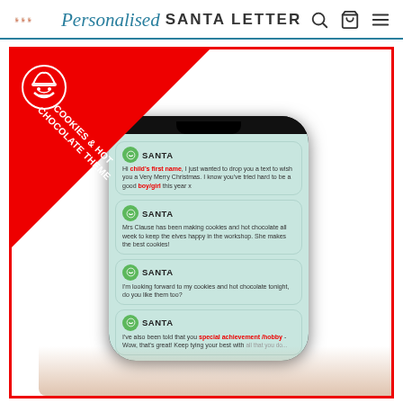Personalised SANTA LETTER
[Figure (screenshot): Product image showing a smartphone mockup with Santa text messages on a Cookies & Hot Chocolate theme background with red triangle banner and Santa icon. The phone displays four message bubbles from SANTA with personalised Christmas text messages.]